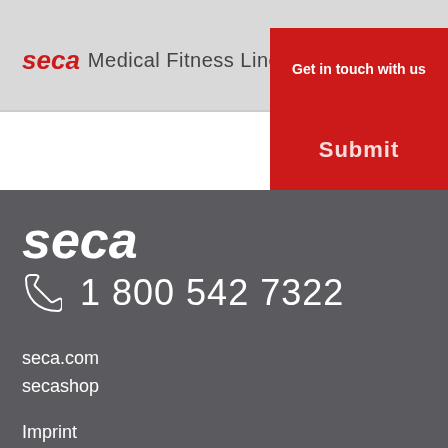seca Medical Fitness Line
Get in touch with us
Submit
[Figure (logo): seca logo in white italic text on dark grey background]
1 800 542 7322
seca.com
secashop
Imprint
Data protection information
General terms and conditions